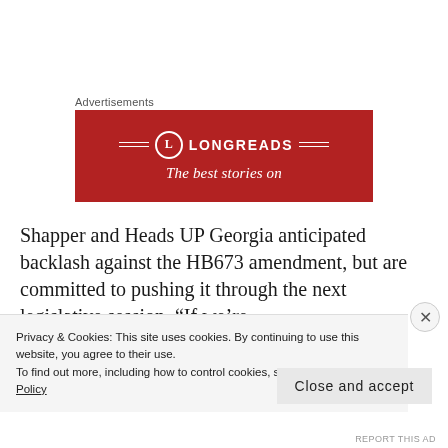Advertisements
[Figure (other): Longreads advertisement banner with red background, circle logo with 'L', text 'LONGREADS' and tagline 'The best stories on']
Shapper and Heads UP Georgia anticipated backlash against the HB673 amendment, but are committed to pushing it through the next legislative session. “If we’re
Privacy & Cookies: This site uses cookies. By continuing to use this website, you agree to their use.
To find out more, including how to control cookies, see here: Cookie Policy
Close and accept